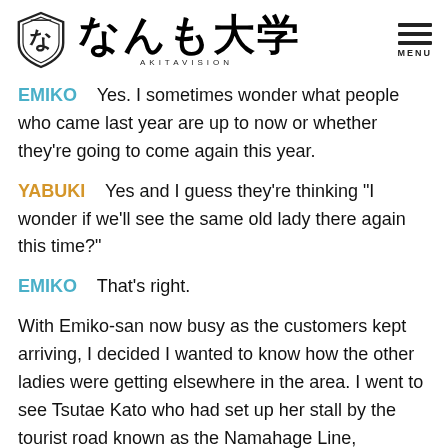なんも大学 AKITAVISION MENU
EMIKO    Yes. I sometimes wonder what people who came last year are up to now or whether they're going to come again this year.
YABUKI    Yes and I guess they're thinking "I wonder if we'll see the same old lady there again this time?"
EMIKO    That's right.
With Emiko-san now busy as the customers kept arriving, I decided I wanted to know how the other ladies were getting elsewhere in the area. I went to see Tsutae Kato who had set up her stall by the tourist road known as the Namahage Line,